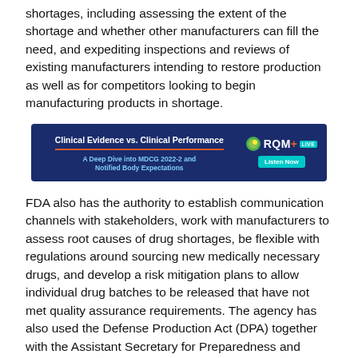shortages, including assessing the extent of the shortage and whether other manufacturers can fill the need, and expediting inspections and reviews of existing manufacturers intending to restore production as well as for competitors looking to begin manufacturing products in shortage.
[Figure (other): Advertisement banner for RQM+ Live podcast: 'Clinical Evidence vs. Clinical Performance - A Deep Dive into MDCG 2022-2 and Notified Body Expectations' with a 'Listen Now' button on a dark navy background.]
FDA also has the authority to establish communication channels with stakeholders, work with manufacturers to assess root causes of drug shortages, be flexible with regulations around sourcing new medically necessary drugs, and develop a risk mitigation plans to allow individual drug batches to be released that have not met quality assurance requirements. The agency has also used the Defense Production Act (DPA) together with the Assistant Secretary for Preparedness and Response (ASPR) to produce more COVID-19 vaccines and therapeutics during the pandemic. In total, FDA said it exercised regulatory flexibility 104 times